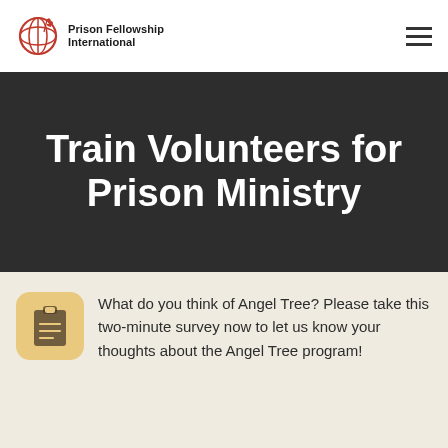[Figure (logo): Prison Fellowship International logo with globe and wheat stalk icon in red, text reads Prison Fellowship International]
Train Volunteers for Prison Ministry
What do you think of Angel Tree? Please take this two-minute survey now to let us know your thoughts about the Angel Tree program!